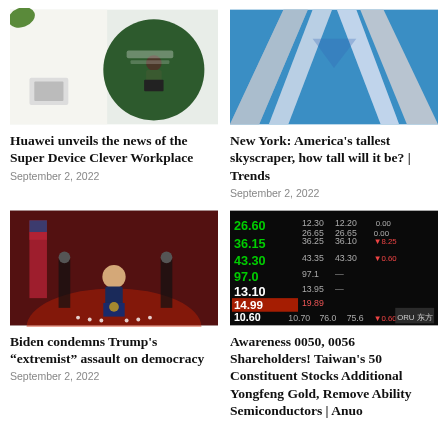[Figure (photo): Huawei Super Device Clever Workplace promotional image showing a person with devices on a green circular background]
Huawei unveils the news of the Super Device Clever Workplace
September 2, 2022
[Figure (photo): Looking up at tall glass skyscrapers against a blue sky forming an X shape]
New York: America's tallest skyscraper, how tall will it be? | Trends
September 2, 2022
[Figure (photo): President Biden speaking at a podium with American flags in a red-lit stage setting]
Biden condemns Trump's “extremist” assault on democracy
September 2, 2022
[Figure (photo): Stock market display board showing green numbers including 26.60, 36.15, 43.30, 97.0, 13.10 and other figures]
Awareness 0050, 0056 Shareholders! Taiwan’s 50 Constituent Stocks Additional Yongfeng Gold, Remove Ability Semiconductors | Anuo